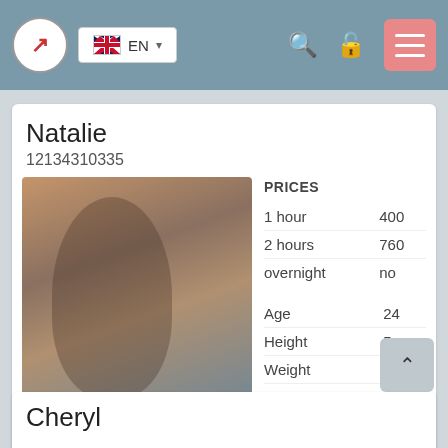EN
Natalie
12134310335
[Figure (photo): Woman in orange tube top posing outdoors with rocky background]
Rosental
|  |  |
| --- | --- |
| PRICES |  |
| 1 hour | 400 |
| 2 hours | 760 |
| overnight | no |
| Age | 24 |
| Height | 5 |
| Weight | 49 |
| Breast | 1 |
Cheryl